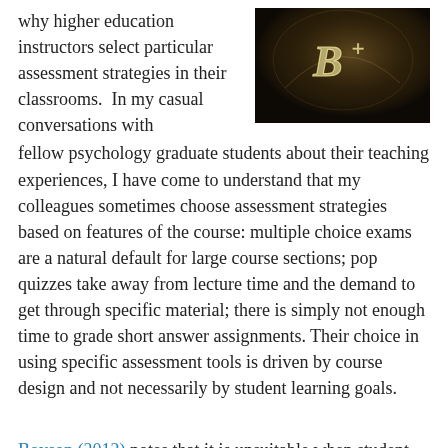why higher education instructors select particular assessment strategies in their classrooms.  In my casual conversations with fellow psychology graduate students about their teaching experiences, I have come to understand that my colleagues sometimes choose assessment strategies based on features of the course: multiple choice exams are a natural default for large course sections; pop quizzes take away from lecture time and the demand to get through specific material; there is simply not enough time to grade short answer assignments. Their choice in using specific assessment tools is driven by course design and not necessarily by student learning goals.
[Figure (photo): Dark photograph with a B+ grade written in glowing cursive light on a dark background, appearing like a chalkboard or projection.]
Boyson (2012) notes that it is unsuitable when student assessments are unrelated to learning objectives: “[for example], it would be incongruent to have objectives related to written communication and not grade students on their writing skills (p. 11).”  This may seem to be an obvious link, but perhaps